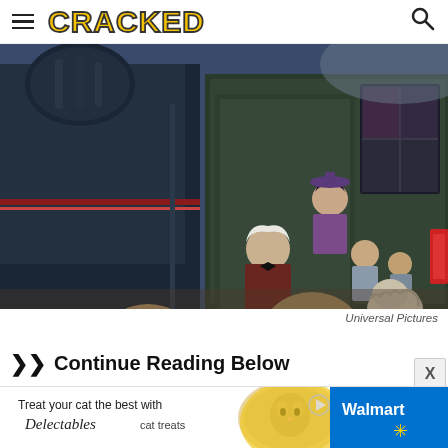CRACKED
[Figure (photo): Scene from Back to the Future Part III showing Doc Brown (Christopher Lloyd) with white hair and maroon coat speaking to characters in front of a steam locomotive train. A shaggy dog is visible on the right. Two children seen from behind in foreground. Woman in purple Victorian dress in background.]
Universal Pictures
Continue Reading Below
[Figure (infographic): Advertisement banner: Treat your cat the best with Delectables cat treats, with Walmart branding and logo on right side. Image of a cat in center.]